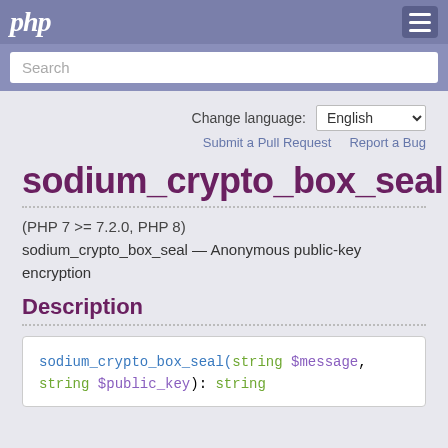php
Search
Change language: English
Submit a Pull Request   Report a Bug
sodium_crypto_box_seal
(PHP 7 >= 7.2.0, PHP 8)
sodium_crypto_box_seal — Anonymous public-key encryption
Description
sodium_crypto_box_seal(string $message, string $public_key): string